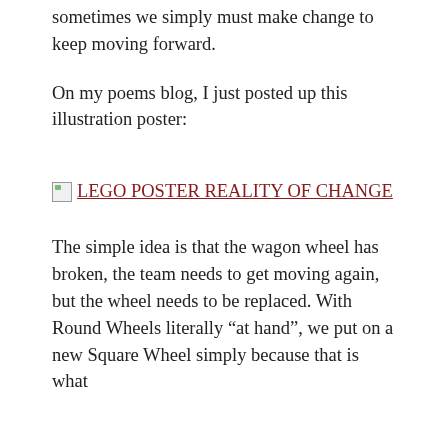sometimes we simply must make change to keep moving forward.
On my poems blog, I just posted up this illustration poster:
[Figure (illustration): Broken image placeholder with link text: LEGO POSTER REALITY OF CHANGE]
The simple idea is that the wagon wheel has broken, the team needs to get moving again, but the wheel needs to be replaced. With Round Wheels literally “at hand”, we put on a new Square Wheel simply because that is what